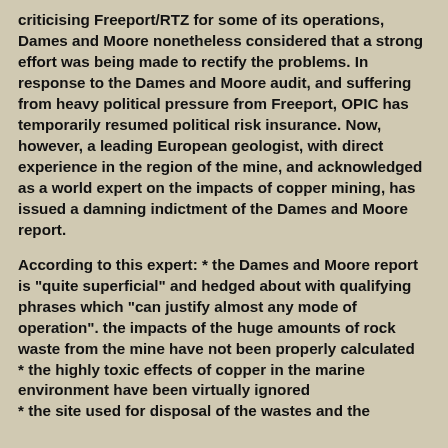criticising Freeport/RTZ for some of its operations, Dames and Moore nonetheless considered that a strong effort was being made to rectify the problems. In response to the Dames and Moore audit, and suffering from heavy political pressure from Freeport, OPIC has temporarily resumed political risk insurance. Now, however, a leading European geologist, with direct experience in the region of the mine, and acknowledged as a world expert on the impacts of copper mining, has issued a damning indictment of the Dames and Moore report.
According to this expert: * the Dames and Moore report is "quite superficial" and hedged about with qualifying phrases which "can justify almost any mode of operation". the impacts of the huge amounts of rock waste from the mine have not been properly calculated
* the highly toxic effects of copper in the marine environment have been virtually ignored
* the site used for disposal of the wastes and the